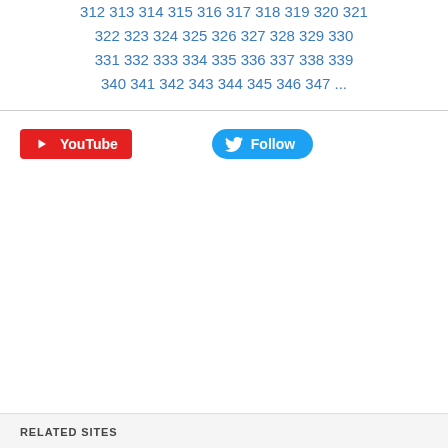312 313 314 315 316 317 318 319 320 321 322 323 324 325 326 327 328 329 330 331 332 333 334 335 336 337 338 339 340 341 342 343 344 345 346 347 ...
[Figure (logo): YouTube red button with play icon and white text 'YouTube']
[Figure (logo): Twitter blue rounded button with bird icon and white text 'Follow']
RELATED SITES